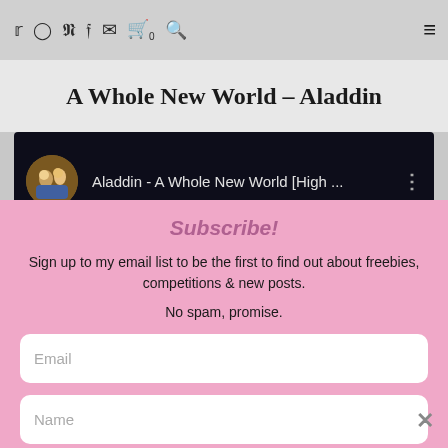… he saw and the others to see this most critically acclaimed film of all…
Social icons: Twitter, Instagram, Pinterest, Facebook, Email, Cart 0, Search | Hamburger menu
A Whole New World – Aladdin
[Figure (screenshot): YouTube video thumbnail showing Aladdin characters with title 'Aladdin - A Whole New World [High ...' and three-dot menu icon on dark background]
Subscribe!
Sign up to my email list to be the first to find out about freebies, competitions & new posts.
No spam, promise.
Email
Name
SUBSCRIBE